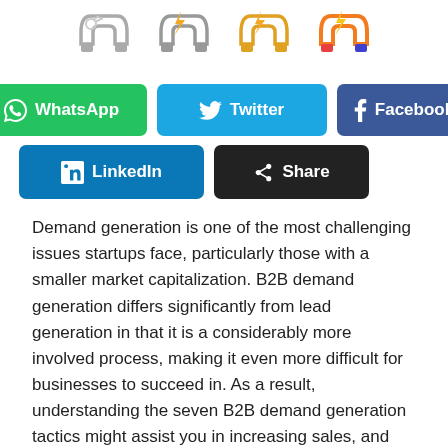[Figure (illustration): Four magnet/horseshoe icons in a row at the top: grey outline, grey outline, golden/yellow outline, orange/colorful]
[Figure (infographic): Social media share buttons: WhatsApp (green), Twitter (blue), Facebook (dark blue), LinkedIn (blue), Share (black)]
Demand generation is one of the most challenging issues startups face, particularly those with a smaller market capitalization. B2B demand generation differs significantly from lead generation in that it is a considerably more involved process, making it even more difficult for businesses to succeed in. As a result, understanding the seven B2B demand generation tactics might assist you in increasing sales, and you can also hire a B2B demand generation agency like International Marketing Agency to help